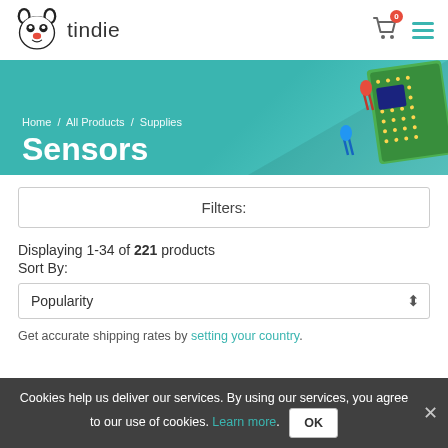tindie
[Figure (illustration): Tindie mascot logo - cartoon dog face with ears, red nose, black and white coloring]
Home / All Products / Supplies
Sensors
[Figure (illustration): Electronics illustration with circuit board, red and blue LEDs on a teal/cyan banner background]
Filters:
Displaying 1-34 of 221 products
Sort By:
Popularity
Get accurate shipping rates by setting your country.
Cookies help us deliver our services. By using our services, you agree to our use of cookies. Learn more. OK